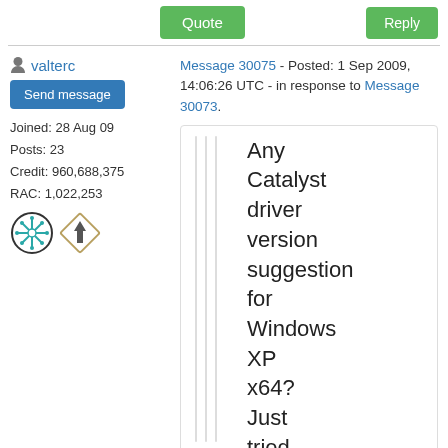Quote | Reply
valterc - Message 30075 - Posted: 1 Sep 2009, 14:06:26 UTC - in response to Message 30073.
Send message
Joined: 28 Aug 09
Posts: 23
Credit: 960,688,375
RAC: 1,022,253
Any Catalyst driver version suggestion for Windows XP x64? Just tried the 9.8